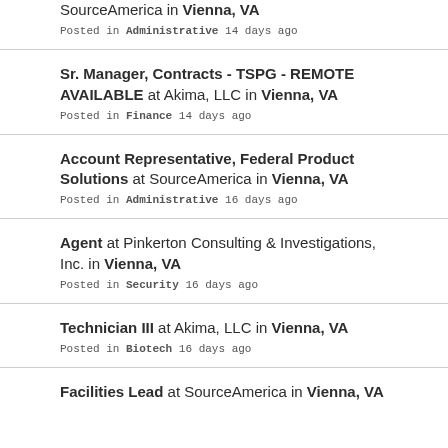SourceAmerica in Vienna, VA
Posted in Administrative 14 days ago
Sr. Manager, Contracts - TSPG - REMOTE AVAILABLE at Akima, LLC in Vienna, VA
Posted in Finance 14 days ago
Account Representative, Federal Product Solutions at SourceAmerica in Vienna, VA
Posted in Administrative 16 days ago
Agent at Pinkerton Consulting & Investigations, Inc. in Vienna, VA
Posted in Security 16 days ago
Technician III at Akima, LLC in Vienna, VA
Posted in Biotech 16 days ago
Facilities Lead at SourceAmerica in Vienna, VA